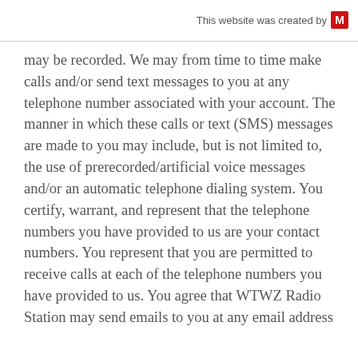This website was created by M
may be recorded. We may from time to time make calls and/or send text messages to you at any telephone number associated with your account. The manner in which these calls or text (SMS) messages are made to you may include, but is not limited to, the use of prerecorded/artificial voice messages and/or an automatic telephone dialing system. You certify, warrant, and represent that the telephone numbers you have provided to us are your contact numbers. You represent that you are permitted to receive calls at each of the telephone numbers you have provided to us. You agree that WTWZ Radio Station may send emails to you at any email address